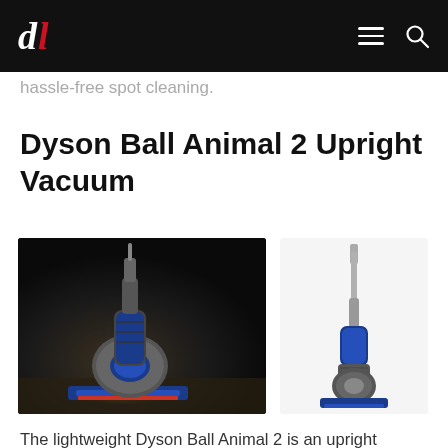dl [logo] [hamburger menu] [search icon]
hassle-free spot cleaning.
Dyson Ball Animal 2 Upright Vacuum
[Figure (photo): Two images of the Dyson Ball Animal 2 Upright Vacuum: a large dramatic angled shot with dark background showing the vacuum on the ground, and a smaller full-length side view on white background.]
The lightweight Dyson Ball Animal 2 is an upright vacuum designed